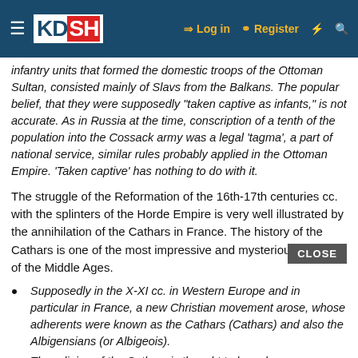KDSH — Log in | Register
infantry units that formed the domestic troops of the Ottoman Sultan, consisted mainly of Slavs from the Balkans. The popular belief, that they were supposedly "taken captive as infants," is not accurate. As in Russia at the time, conscription of a tenth of the population into the Cossack army was a legal 'tagma', a part of national service, similar rules probably applied in the Ottoman Empire. 'Taken captive' has nothing to do with it.
The struggle of the Reformation of the 16th-17th centuries cc. with the splinters of the Horde Empire is very well illustrated by the annihilation of the Cathars in France. The history of the Cathars is one of the most impressive and mysterious chapters of the Middle Ages.
Supposedly in the X-XI cc. in Western Europe and in particular in France, a new Christian movement arose, whose adherents were known as the Cathars (Cathars) and also the Albigensians (or Albigeois).
The religion of the Cathars is thought to have been